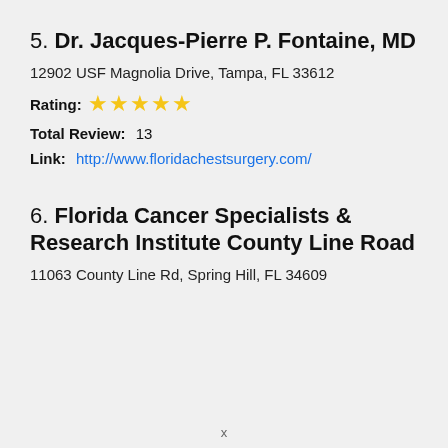5. Dr. Jacques-Pierre P. Fontaine, MD
12902 USF Magnolia Drive, Tampa, FL 33612
Rating: ⭐⭐⭐⭐⭐
Total Review:  13
Link:  http://www.floridachestsurgery.com/
6. Florida Cancer Specialists & Research Institute County Line Road
11063 County Line Rd, Spring Hill, FL 34609
x